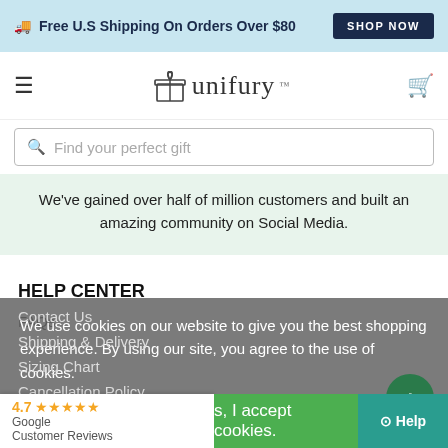Free U.S Shipping On Orders Over $80  SHOP NOW
[Figure (logo): Unifury logo with gift box icon and cart icon in navigation bar]
Find your perfect gift
We've gained over half of million customers and built an amazing community on Social Media.
HELP CENTER
FAQs
Contact Us
Shipping & Delivery
Sizing Chart
Cancellation Policy
Return Policy
We use cookies on our website to give you the best shopping experience. By using our site, you agree to the use of cookies.
4.7 ★★★★★ Google Customer Reviews
s, I accept cookies.
Help